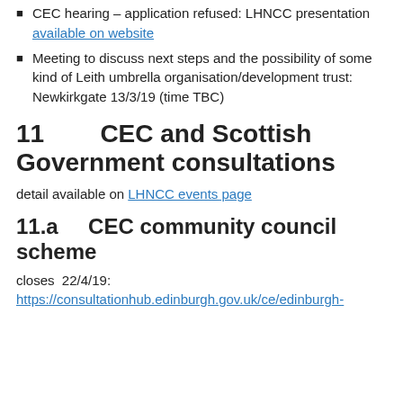CEC hearing – application refused: LHNCC presentation available on website
Meeting to discuss next steps and the possibility of some kind of Leith umbrella organisation/development trust: Newkirkgate 13/3/19 (time TBC)
11        CEC and Scottish Government consultations
detail available on LHNCC events page
11.a      CEC community council scheme
closes  22/4/19:
https://consultationhub.edinburgh.gov.uk/ce/edinburgh-